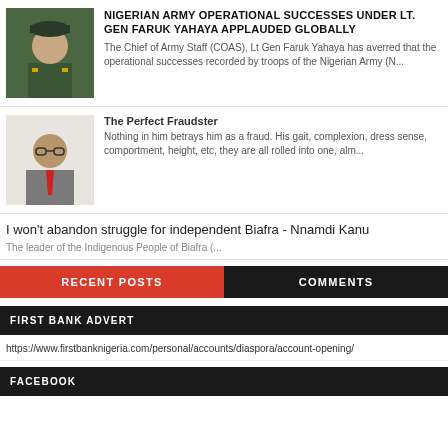[Figure (photo): Portrait photo of Lt. Gen Faruk Yahaya in military uniform]
NIGERIAN ARMY OPERATIONAL SUCCESSES UNDER LT. GEN FARUK YAHAYA APPLAUDED GLOBALLY
The Chief of Army Staff (COAS), Lt Gen Faruk Yahaya has averred that the operational successes recorded by troops of the Nigerian Army (N...
[Figure (photo): Portrait photo of a man in grey suit with red tie]
The Perfect Fraudster
Nothing in him betrays him as a fraud. His gait, complexion, dress sense, comportment, height, etc, they are all rolled into one, alm...
I won't abandon struggle for independent Biafra - Nnamdi Kanu
The leader of the Indigenous People of Biafra (...
RECENT POSTS
COMMENTS
FIRST BANK ADVERT
https://www.firstbanknigeria.com/personal/accounts/diaspora/account-opening/
FACEBOOK